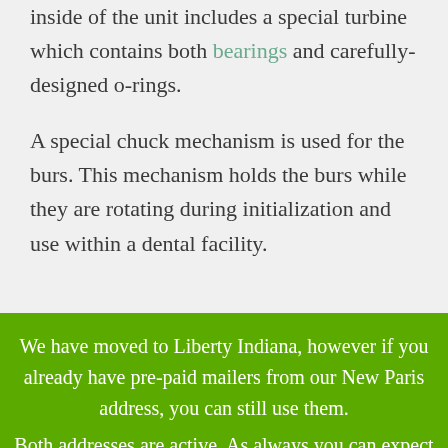inside of the unit includes a special turbine which contains both bearings and carefully-designed o-rings.
A special chuck mechanism is used for the burs. This mechanism holds the burs while they are rotating during initialization and use within a dental facility.
We have moved to Liberty Indiana, however if you already have pre-paid mailers from our New Paris address, you can still use them. Both addresses are active. As always you can expect the same Fast, Quality Repairs from us! Dismiss